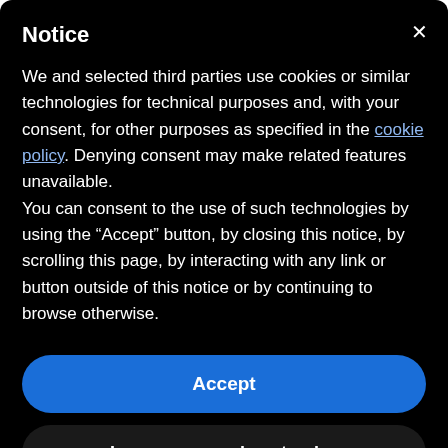Notice
We and selected third parties use cookies or similar technologies for technical purposes and, with your consent, for other purposes as specified in the cookie policy. Denying consent may make related features unavailable.
You can consent to the use of such technologies by using the “Accept” button, by closing this notice, by scrolling this page, by interacting with any link or button outside of this notice or by continuing to browse otherwise.
Accept
Learn more and customize
Nexgard Spectra, kill any heartworm larvae that our pets may have been infected with in the previous month, before they become more mature and the worms are no longer susceptible to